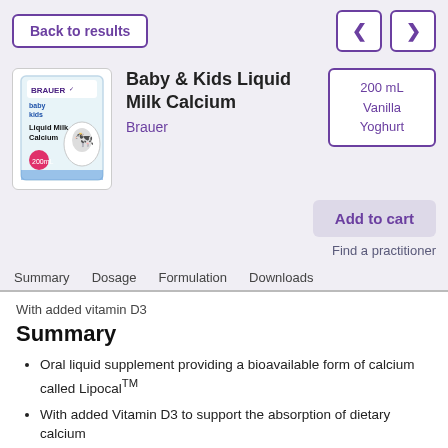Back to results
[Figure (illustration): Baby & Kids Liquid Milk Calcium product bottle illustration by Brauer]
Baby & Kids Liquid Milk Calcium
Brauer
200 mL Vanilla Yoghurt
Add to cart
Find a practitioner
Summary  Dosage  Formulation  Downloads
With added vitamin D3
Summary
Oral liquid supplement providing a bioavailable form of calcium called LipocalTM
With added Vitamin D3 to support the absorption of dietary calcium
Formula may help to